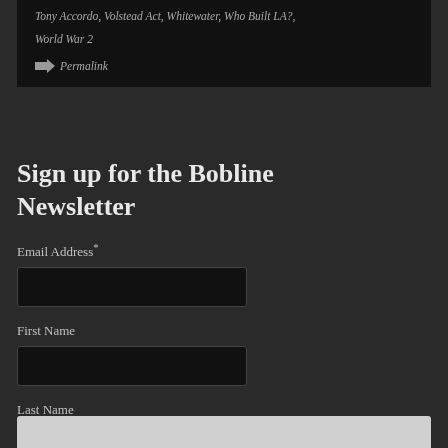Tony Accordo, Volstead Act, Whitewater, Who Built LA?, World War 2
➡ Permalink
Sign up for the Bobline Newsletter
Email Address*
First Name
Last Name
* = required field